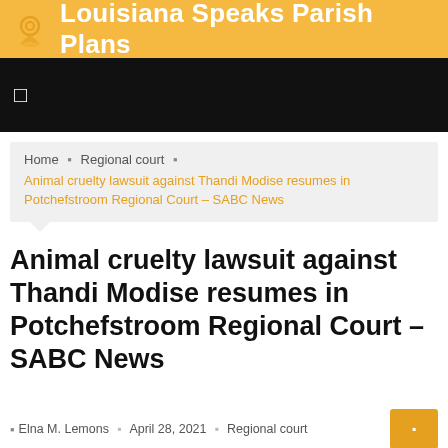Louisiana Speaks Parish Plans
[Figure (screenshot): Black banner image with a small white square/icon on the left side]
Home › Regional court › Animal cruelty lawsuit against Thandi Modise resumes in Potchefstroom Regional Court – SABC News
Animal cruelty lawsuit against Thandi Modise resumes in Potchefstroom Regional Court – SABC News
Elna M. Lemons  ·  April 28, 2021  ·  Regional court